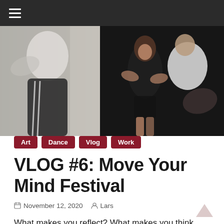Navigation bar with hamburger menu icon
[Figure (photo): Dance performance photo showing dancers in motion against a dark/white background. Left side shows a person in white shirt and black track pants mid-movement, right side shows a woman in black athletic wear and a person in white shirt dancing together.]
Art
Dance
Vlog
Work
VLOG #6: Move Your Mind Festival
November 12, 2020   Lars
What makes you reflect? What makes you think about your life? What makes you encounter new perspectives and other opinions